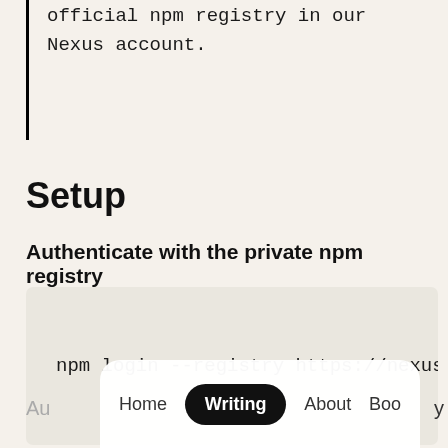repository pointing to the official npm registry in our Nexus account.
Setup
Authenticate with the private npm registry
npm login --registry https://nexus.
Au   Home   Writing   About   Boo y